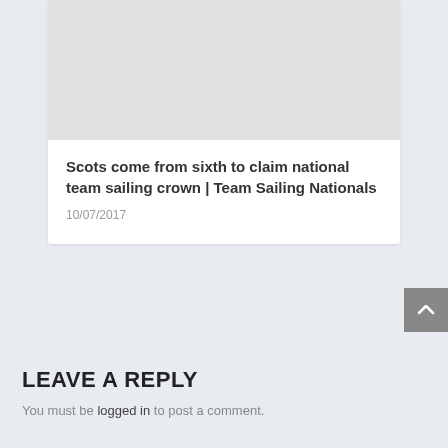[Figure (photo): Light gray placeholder image at the top of a card]
Scots come from sixth to claim national team sailing crown | Team Sailing Nationals
10/07/2017
LEAVE A REPLY
You must be logged in to post a comment.